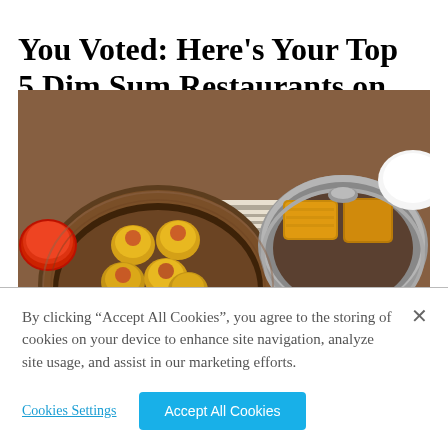You Voted: Here’s Your Top 5 Dim Sum Restaurants on O‘ahu
[Figure (photo): Overhead view of multiple bamboo steamer baskets filled with dim sum dishes including shumai dumplings, har gow, and fried items on a wooden table, with a small dish of red chili sauce on the side.]
By clicking “Accept All Cookies”, you agree to the storing of cookies on your device to enhance site navigation, analyze site usage, and assist in our marketing efforts.
Cookies Settings
Accept All Cookies